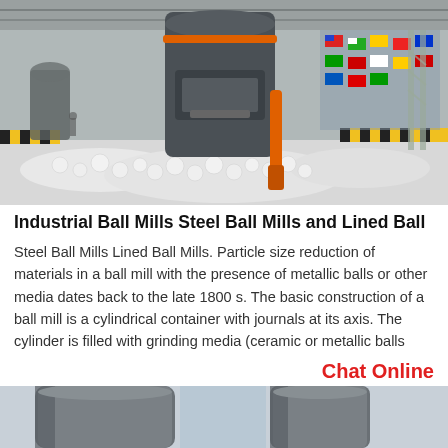[Figure (photo): Industrial ball mill machine in a large factory/exhibition hall. A tall grey cylindrical grinder with orange hydraulic arm sits on a pile of white grinding balls. Yellow and black safety chevron barriers are visible along the floor. International flags hang in the background.]
Industrial Ball Mills Steel Ball Mills and Lined Ball
Steel Ball Mills Lined Ball Mills. Particle size reduction of materials in a ball mill with the presence of metallic balls or other media dates back to the late 1800 s. The basic construction of a ball mill is a cylindrical container with journals at its axis. The cylinder is filled with grinding media (ceramic or metallic balls
Chat Online
[Figure (photo): Partial view of industrial cylindrical metal equipment/pipes, grey colored, photographed from below against a light sky background.]